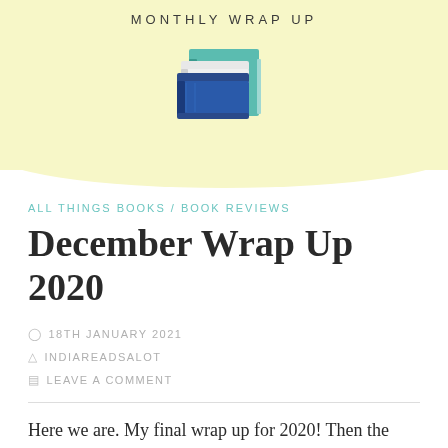[Figure (illustration): Stack of colorful books illustration above the text 'MONTHLY WRAP UP' on a pale yellow banner background]
ALL THINGS BOOKS / BOOK REVIEWS
December Wrap Up 2020
18TH JANUARY 2021
INDIAREADSALOT
LEAVE A COMMENT
Here we are. My final wrap up for 2020! Then the focus is on the new year at hand. I can say now that so far this year has been good to me. But more on that later.